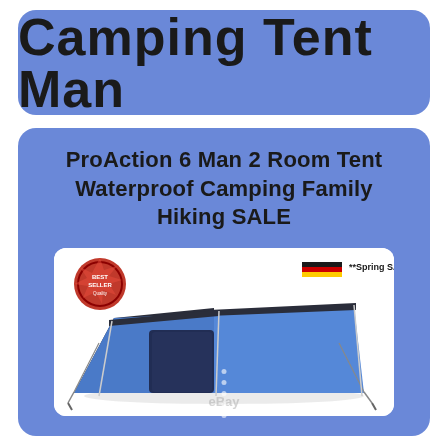Camping Tent Man
ProAction 6 Man 2 Room Tent Waterproof Camping Family Hiking SALE
[Figure (photo): Blue ProAction 6 Man 2 Room tent displayed on white background. A red 'Bestseller' stamp badge is in the upper left corner. '**Spring SALE**' text with a red/yellow/black German flag stripe is in the upper right. The eBay logo appears at the bottom. The tent is large with a dark canopy extension and blue fabric body with guy ropes extended.]